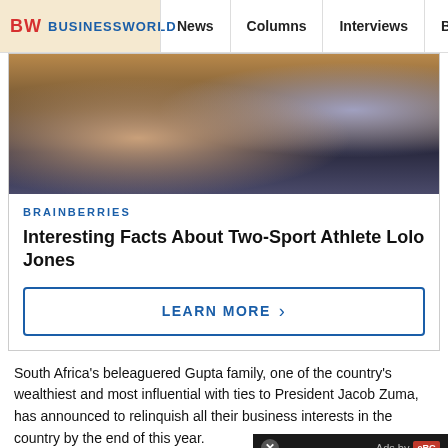BW BUSINESSWORLD | News | Columns | Interviews | BW
[Figure (photo): Cropped photo of a person sitting on a couch, wearing athletic/sports attire, with a watch, with a side table visible in background]
BRAINBERRIES
Interesting Facts About Two-Sport Athlete Lolo Jones
LEARN MORE ›
South Africa's beleaguered Gupta family, one of the country's wealthiest and most influential with ties to President Jacob Zuma, has announced to relinquish all their business interests in the country by the end of this year.
The brothers Ajay, Atul and Anil, who arrived at the advent of democracy under Nelson Mandela, established a huge information technology company, Computers, before branching into a wide range of areas as diverse as mining and media, including The New Age daily
[Figure (other): Video player overlay with play button, showing Ads by eRG label and close button]